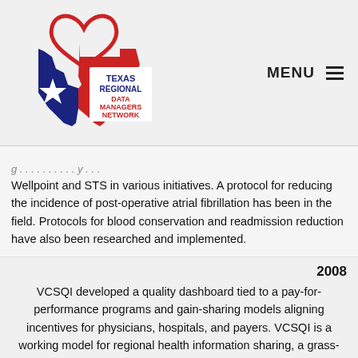[Figure (logo): Texas Regional Data Managers Network logo — Texas state shape in blue and red with a white star, red heart outline above, bold text reading TEXAS REGIONAL DATA MANAGERS NETWORK]
MENU ≡
Wellpoint and STS in various initiatives. A protocol for reducing the incidence of post-operative atrial fibrillation has been in the field. Protocols for blood conservation and readmission reduction have also been researched and implemented.
2008
VCSQI developed a quality dashboard tied to a pay-for-performance programs and gain-sharing models aligning incentives for physicians, hospitals, and payers. VCSQI is a working model for regional health information sharing, a grass-roots quality improvement organization and a patient safety collaborative.